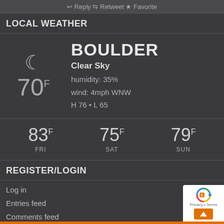Reply  Retweet  Favorite
LOCAL WEATHER
BOULDER
Clear Sky
humidity: 35%
wind: 4mph WNW
H 76 • L 65
83 F  FRI    75 F  SAT    79 F  SUN
REGISTER/LOGIN
Log in
Entries feed
Comments feed
[Figure (logo): reCAPTCHA logo badge with Privacy and Terms links and orange scroll-to-top button]